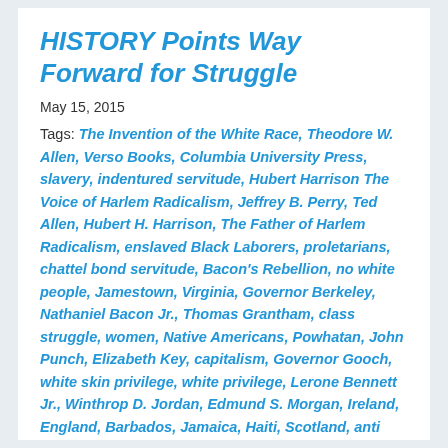HISTORY Points Way Forward for Struggle
May 15, 2015
Tags: The Invention of the White Race, Theodore W. Allen, Verso Books, Columbia University Press, slavery, indentured servitude, Hubert Harrison The Voice of Harlem Radicalism, Jeffrey B. Perry, Ted Allen, Hubert H. Harrison, The Father of Harlem Radicalism, enslaved Black Laborers, proletarians, chattel bond servitude, Bacon's Rebellion, no white people, Jamestown, Virginia, Governor Berkeley, Nathaniel Bacon Jr., Thomas Grantham, class struggle, women, Native Americans, Powhatan, John Punch, Elizabeth Key, capitalism, Governor Gooch, white skin privilege, white privilege, Lerone Bennett Jr., Winthrop D. Jordan, Edmund S. Morgan, Ireland, England, Barbados, Jamaica, Haiti, Scotland, anti white